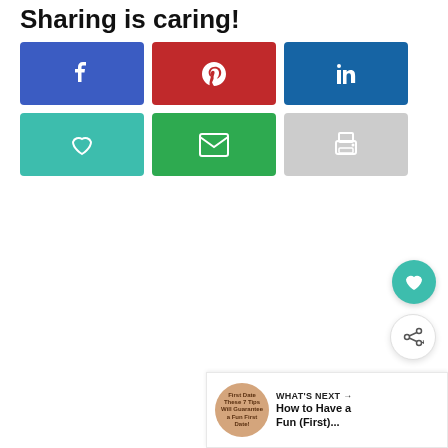Sharing is caring!
[Figure (infographic): Six social sharing buttons: Facebook (blue), Pinterest (red), LinkedIn (blue), Save/Heart (teal), Email (green), Print (gray)]
[Figure (infographic): Floating action buttons: teal heart circle and white share circle]
[Figure (infographic): What's Next bar with thumbnail and text: WHAT'S NEXT → How to Have a Fun (First)...]